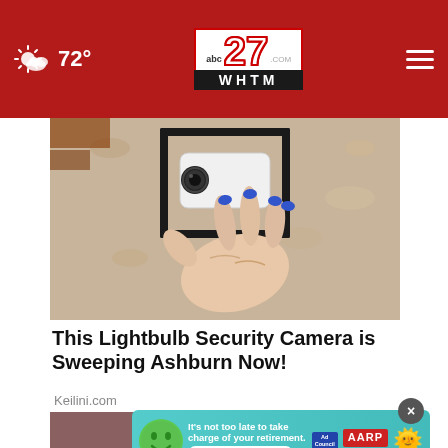abc27 WHTM — 72° weather header with navigation
[Figure (photo): A hand with blue painted nails holding or touching a security camera mounted in a black outdoor light fixture against a tan/beige stucco wall]
This Lightbulb Security Camera is Sweeping Ashburn Now!
Keilini.com
[Figure (photo): Partial view of a person's face, partially visible at bottom of page]
[Figure (infographic): AARP advertisement: It's not too late to take charge of your retirement. Get your top 3 tips. Ad Council and AARP logos with green smiling face character and sun icon.]